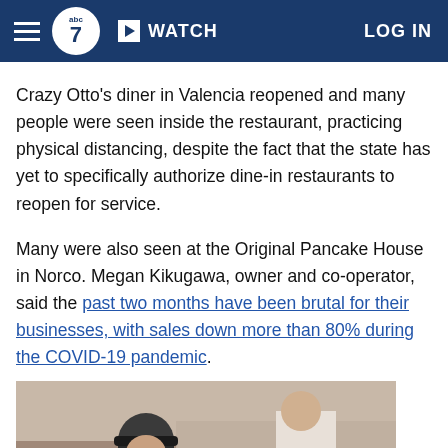abc7 WATCH LOG IN
Crazy Otto's diner in Valencia reopened and many people were seen inside the restaurant, practicing physical distancing, despite the fact that the state has yet to specifically authorize dine-in restaurants to reopen for service.
Many were also seen at the Original Pancake House in Norco. Megan Kikugawa, owner and co-operator, said the past two months have been brutal for their businesses, with sales down more than 80% during the COVID-19 pandemic.
[Figure (photo): Photo of people inside a diner restaurant, a person wearing a black cap and glasses seated, a server or staff member visible with gloved hand holding something.]